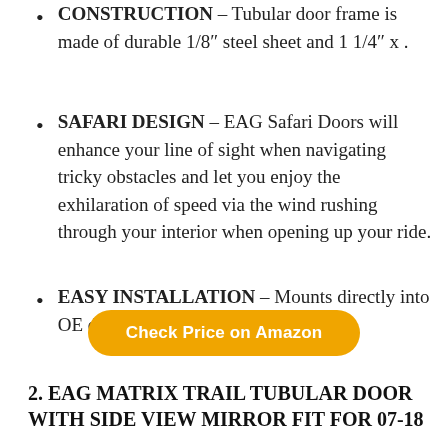CONSTRUCTION – Tubular door frame is made of durable 1/8″ steel sheet and 1 1/4″ x .
SAFARI DESIGN – EAG Safari Doors will enhance your line of sight when navigating tricky obstacles and let you enjoy the exhilaration of speed via the wind rushing through your interior when opening up your ride.
EASY INSTALLATION – Mounts directly into OE door hinge.
Check Price on Amazon
2. EAG MATRIX TRAIL TUBULAR DOOR WITH SIDE VIEW MIRROR FIT FOR 07-18 WRANGLER JK 2-DOOR, 4DOOR